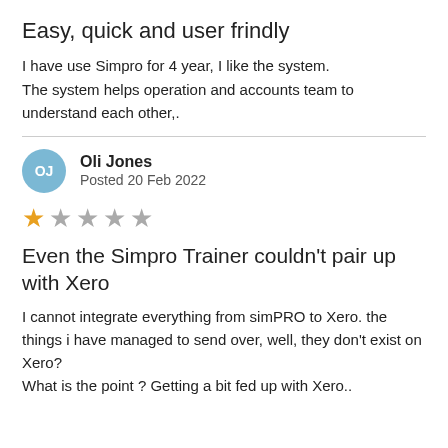Easy, quick and user frindly
I have use Simpro for 4 year, I like the system. The system helps operation and accounts team to understand each other,.
Oli Jones
Posted 20 Feb 2022
★☆☆☆☆
Even the Simpro Trainer couldn't pair up with Xero
I cannot integrate everything from simPRO to Xero. the things i have managed to send over, well, they don't exist on Xero?
What is the point ? Getting a bit fed up with Xero..